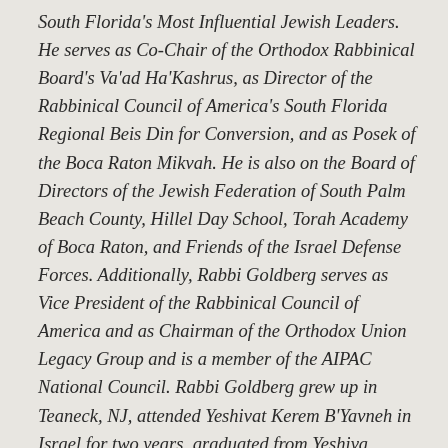South Florida's Most Influential Jewish Leaders. He serves as Co-Chair of the Orthodox Rabbinical Board's Va'ad Ha'Kashrus, as Director of the Rabbinical Council of America's South Florida Regional Beis Din for Conversion, and as Posek of the Boca Raton Mikvah. He is also on the Board of Directors of the Jewish Federation of South Palm Beach County, Hillel Day School, Torah Academy of Boca Raton, and Friends of the Israel Defense Forces. Additionally, Rabbi Goldberg serves as Vice President of the Rabbinical Council of America and as Chairman of the Orthodox Union Legacy Group and is a member of the AIPAC National Council. Rabbi Goldberg grew up in Teaneck, NJ, attended Yeshivat Kerem B'Yavneh in Israel for two years, graduated from Yeshiva University with a B.A. in psychology, attended Ner Le'Elef and received Semicha from the Rabbi Isaac Elchanan Theological Seminary, Yeshiva University. In 2008, he completed the